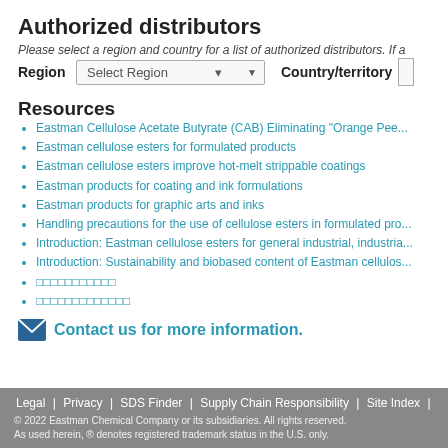Authorized distributors
Please select a region and country for a list of authorized distributors. If a
Region   Select Region   Country/territory
Resources
Eastman Cellulose Acetate Butyrate (CAB) Eliminating "Orange Pee...
Eastman cellulose esters for formulated products
Eastman cellulose esters improve hot-melt strippable coatings
Eastman products for coating and ink formulations
Eastman products for graphic arts and inks
Handling precautions for the use of cellulose esters in formulated pro...
Introduction: Eastman cellulose esters for general industrial, industria...
Introduction: Sustainability and biobased content of Eastman cellulos...
□□□□□□□□□□□
□□□□□□□□□□□□□
Contact us for more information.
Legal | Privacy | SDS Finder | Supply Chain Responsibility | Site Index | © 2022 Eastman Chemical Company or its subsidiaries. All rights reserved. As used herein, ® denotes registered trademark status in the U.S. only.